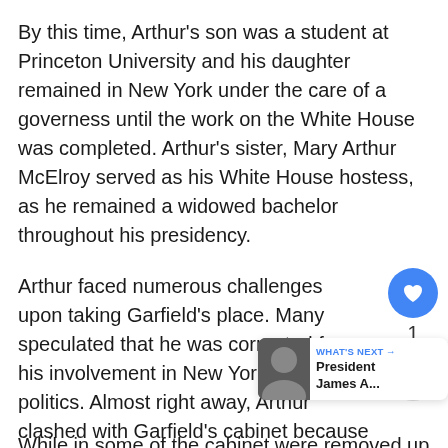By this time, Arthur's son was a student at Princeton University and his daughter remained in New York under the care of a governess until the work on the White House was completed. Arthur's sister, Mary Arthur McElroy served as his White House hostess, as he remained a widowed bachelor throughout his presidency.
Arthur faced numerous challenges upon taking Garfield's place. Many speculated that he was corrupted from his involvement in New York City politics. Almost right away, Arthur clashed with Garfield's cabinet because Garfield and his cabinet were part of the Republican Party faction in opposition to the faction Arthur belonged to. Despite this. Arthur requested that they remain in their positions until Congress reconvened.